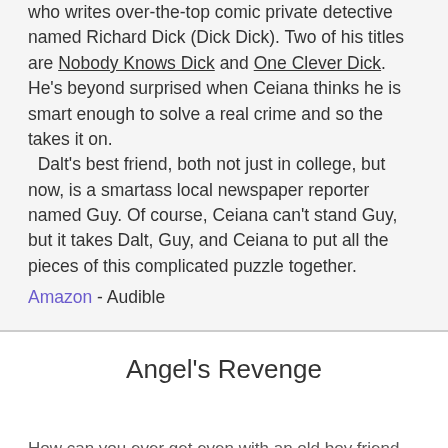who writes over-the-top comic private detective named Richard Dick (Dick Dick). Two of his titles are Nobody Knows Dick and One Clever Dick. He's beyond surprised when Ceiana thinks he is smart enough to solve a real crime and so the takes it on.
  Dalt's best friend, both not just in college, but now, is a smartass local newspaper reporter named Guy. Of course, Ceiana can't stand Guy, but it takes Dalt, Guy, and Ceiana to put all the pieces of this complicated puzzle together.
Amazon - Audible
Angel's Revenge
How can you ever get even with an old boy friend